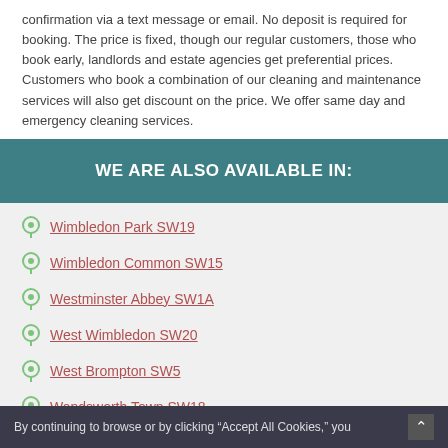confirmation via a text message or email. No deposit is required for booking. The price is fixed, though our regular customers, those who book early, landlords and estate agencies get preferential prices. Customers who book a combination of our cleaning and maintenance services will also get discount on the price. We offer same day and emergency cleaning services.
WE ARE ALSO AVAILABLE IN:
Wimbledon Park SW19
Wimbledon Common SW15
Westminster Abbey SW1A
West Wimbledon SW20
West Brompton SW5
Wandsworth Town SW18
By continuing to browse or by clicking “Accept All Cookies,” you